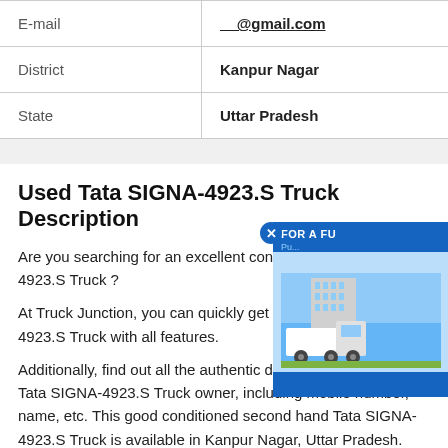| E-mail | __@gmail.com |
| District | Kanpur Nagar |
| State | Uttar Pradesh |
Used Tata SIGNA-4923.S Truck Description
Are you searching for an excellent conditioned Used SIGNA-4923.S Truck ?
At Truck Junction, you can quickly get an old Tata SIGNA-4923.S Truck with all features.
Additionally, find out all the authentic details regarding the old Tata SIGNA-4923.S Truck owner, including mobile number, name, etc. This good conditioned second hand Tata SIGNA-4923.S Truck is available in Kanpur Nagar, Uttar Pradesh.
[Figure (photo): Advertisement banner showing a building/real estate image with text FOR A FU... and a truck image below]